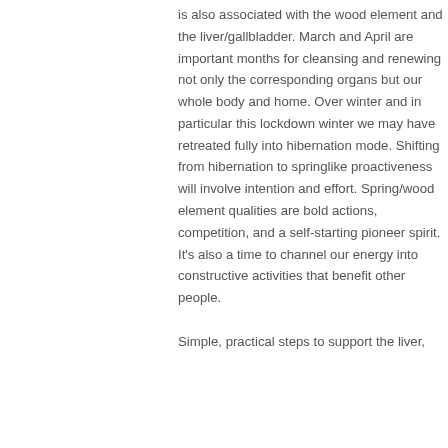is also associated with the wood element and the liver/gallbladder. March and April are important months for cleansing and renewing not only the corresponding organs but our whole body and home. Over winter and in particular this lockdown winter we may have retreated fully into hibernation mode. Shifting from hibernation to springlike proactiveness will involve intention and effort. Spring/wood element qualities are bold actions, competition, and a self-starting pioneer spirit. It's also a time to channel our energy into constructive activities that benefit other people.
Simple, practical steps to support the liver,